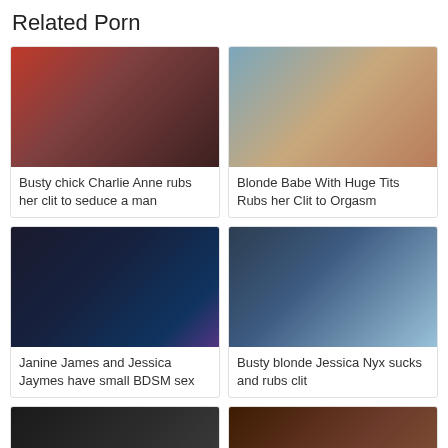Related Porn
[Figure (photo): Thumbnail image for video 1]
Busty chick Charlie Anne rubs her clit to seduce a man
[Figure (photo): Thumbnail image for video 2]
Blonde Babe With Huge Tits Rubs her Clit to Orgasm
[Figure (photo): Thumbnail image for video 3]
Janine James and Jessica Jaymes have small BDSM sex
[Figure (photo): Thumbnail image for video 4]
Busty blonde Jessica Nyx sucks and rubs clit
[Figure (photo): Thumbnail image for video 5 (partially visible)]
[Figure (photo): Thumbnail image for video 6 (partially visible)]